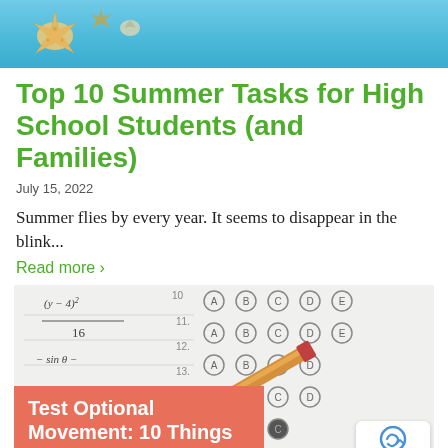[Figure (photo): Top banner photo showing a starfish and seashells on a blue background, suggesting a summer theme.]
Top 10 Summer Tasks for High School Students (and Families)
July 15, 2022
Summer flies by every year. It seems to disappear in the blink...
Read more ›
[Figure (photo): Photo of a standardized test answer sheet with multiple choice bubbles (A B C D E) and a red pencil resting on it. A salmon/coral colored overlay box in the bottom left reads 'Test Optional Movement: 10 Things You'. A small reCAPTCHA privacy badge appears in the bottom right corner.]